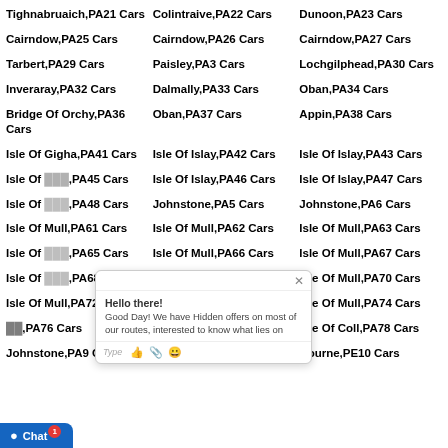Tighnabruaich,PA21 Cars
Colintraive,PA22 Cars
Dunoon,PA23 Cars
Cairndow,PA25 Cars
Cairndow,PA26 Cars
Cairndow,PA27 Cars
Tarbert,PA29 Cars
Paisley,PA3 Cars
Lochgilphead,PA30 Cars
Inveraray,PA32 Cars
Dalmally,PA33 Cars
Oban,PA34 Cars
Bridge Of Orchy,PA36 Cars
Oban,PA37 Cars
Appin,PA38 Cars
Isle Of Gigha,PA41 Cars
Isle Of Islay,PA42 Cars
Isle Of Islay,PA43 Cars
Isle Of [PA45] Cars
Isle Of Islay,PA46 Cars
Isle Of Islay,PA47 Cars
Isle Of [PA48] Cars
Johnstone,PA5 Cars
Johnstone,PA6 Cars
Isle Of Mull [PA61] Cars
Isle Of Mull,PA62 Cars
Isle Of Mull,PA63 Cars
Isle Of [PA65] Cars
Isle Of Mull,PA66 Cars
Isle Of Mull,PA67 Cars
Isle Of [PA68] Cars
Bishopton,PA7 Cars
Isle Of Mull,PA70 Cars
Isle Of Mull,PA72 Cars
Isle Of Mull,PA73 Cars
Isle Of Mull,PA74 Cars
Isle Of [PA75],PA76 Cars
Isle Of Tiree,PA77 Cars
Isle Of Coll,PA78 Cars
Johnstone,PA9 Cars
Peterborough,PE1 Cars
Bourne,PE10 Cars